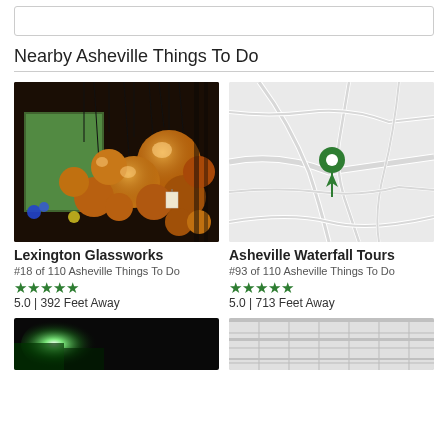[Figure (screenshot): Top search bar / input box, white with border]
Nearby Asheville Things To Do
[Figure (photo): Photo of hanging golden glass orb pendant lights with colorful stained glass in background - Lexington Glassworks]
[Figure (map): Map showing Asheville area with a green location pin marker - Asheville Waterfall Tours]
Lexington Glassworks
#18 of 110 Asheville Things To Do
5.0 | 392 Feet Away
Asheville Waterfall Tours
#93 of 110 Asheville Things To Do
5.0 | 713 Feet Away
[Figure (photo): Photo with bright green/white light, dark background]
[Figure (photo): Photo of interior ceiling with white panels and structural grid]